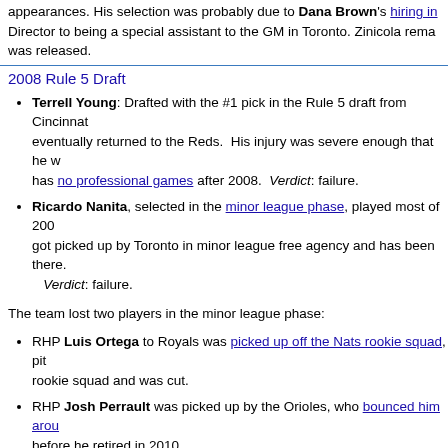appearances. His selection was probably due to Dana Brown's hiring in... Director to being a special assistant to the GM in Toronto. Zinicola remained... was released.
2008 Rule 5 Draft
Terrell Young: Drafted with the #1 pick in the Rule 5 draft from Cincinnati... eventually returned to the Reds. His injury was severe enough that he w... has no professional games after 2008. Verdict: failure.
Ricardo Nanita, selected in the minor league phase, played most of 200... got picked up by Toronto in minor league free agency and has been there... Verdict: failure.
The team lost two players in the minor league phase:
RHP Luis Ortega to Royals was picked up off the Nats rookie squad, pit... rookie squad and was cut.
RHP Josh Perrault was picked up by the Orioles, who bounced him arou... before he retired in 2010.
2007 Rule 5 Draft
Matt Whitney: 1B/3B, Drafted and then eventually returned back to Cleve... rounder a ML free agent and we signed him after the 2008 season. We... retired after 2010. Verdict: failure.